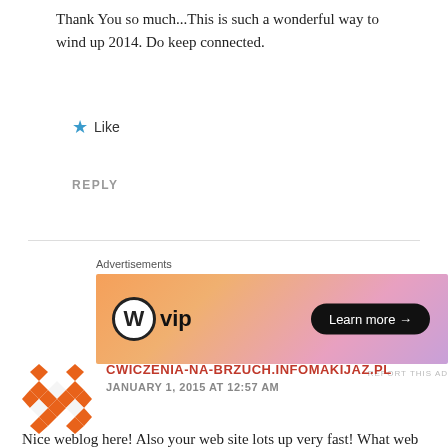Thank You so much...This is such a wonderful way to wind up 2014. Do keep connected.
★ Like
REPLY
[Figure (infographic): WordPress VIP advertisement banner with orange-pink gradient background, WordPress logo (W in circle) followed by 'vip' text, and a 'Learn more →' button in black pill shape on the right.]
Advertisements
REPORT THIS AD
CWICZENIA-NA-BRZUCH.INFOMAKIJAZ.PL
JANUARY 1, 2015 AT 12:57 AM
Nice weblog here! Also your web site lots up very fast! What web host are you the usage of? Can I get your